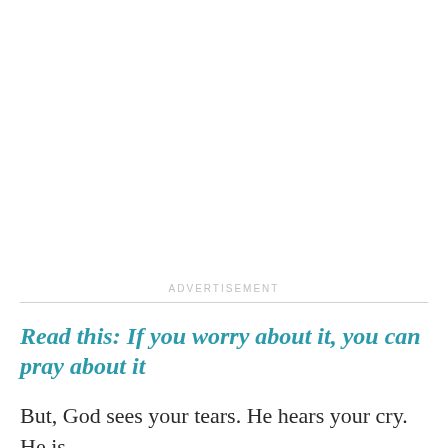ADVERTISEMENT
Read this: If you worry about it, you can pray about it
But, God sees your tears. He hears your cry. He is